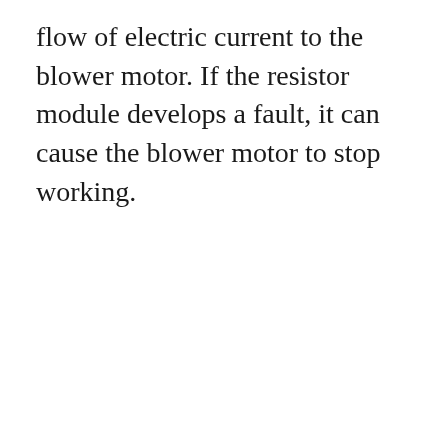flow of electric current to the blower motor. If the resistor module develops a fault, it can cause the blower motor to stop working.